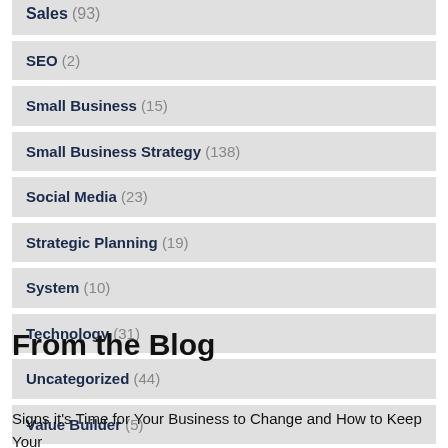SEO (2)
Small Business (15)
Small Business Strategy (138)
Social Media (23)
Strategic Planning (19)
System (10)
Technology (31)
Uncategorized (44)
Value Builder (5)
From the Blog
Signs it's Time for Your Business to Change and How to Keep Your